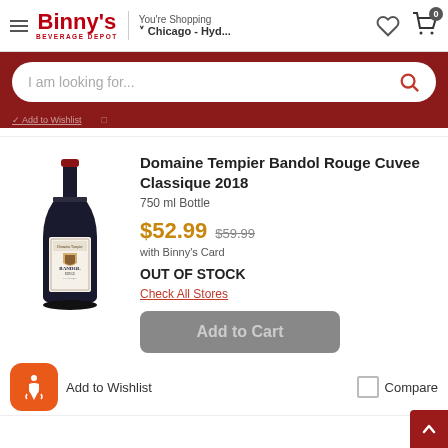Binny's Beverage Depot — You're Shopping Chicago - Hyd...
I am looking for...
Domaine Tempier Bandol Rouge Cuvee Classique 2018
750 ml Bottle
$52.99  $59.99  with Binny's Card
OUT OF STOCK
Check All Stores
Add to Cart
Add to Wishlist
Compare